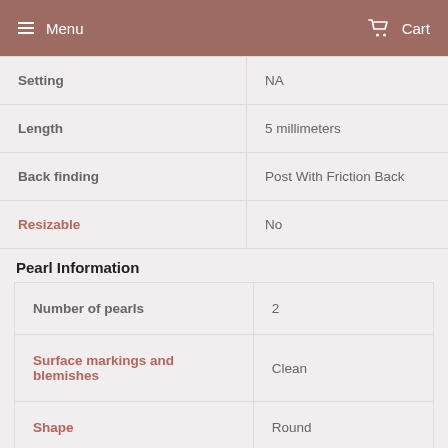Menu  Cart
| Setting | Length | Back finding | Resizable |
| --- | --- | --- | --- |
| Setting | NA |
| Length | 5 millimeters |
| Back finding | Post With Friction Back |
| Resizable | No |
Pearl Information
| Number of pearls | Surface markings and blemishes | Shape |
| --- | --- | --- |
| Number of pearls | 2 |
| Surface markings and blemishes | Clean |
| Shape | Round |